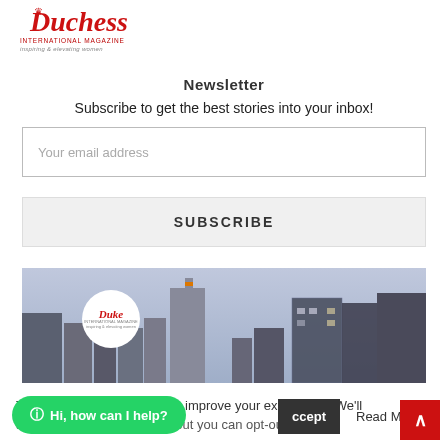[Figure (logo): Duchess International Magazine logo in red italic script with tagline 'inspiring & elevating women']
Newsletter
Subscribe to get the best stories into your inbox!
Your email address
SUBSCRIBE
[Figure (photo): City skyline at dusk with tall buildings and a Duke International Magazine logo circle overlay]
This website uses cookies to improve your experience. We'll assume you're ok with this, but you can opt-out if you w
Hi, how can I help?
ccept
Read More